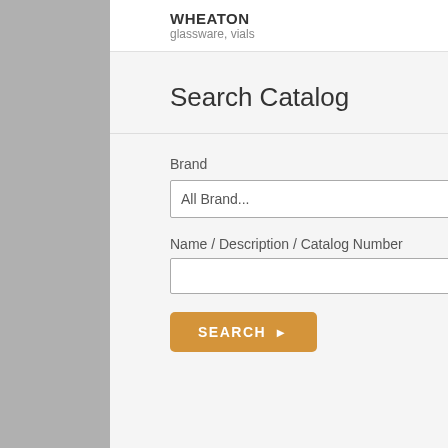WHEATON
glassware, vials
Search Catalog
Brand
All Brand...
Name / Description / Catalog Number
SEARCH
P177-
Polyp
US B
P177-
Polyp
US B
P177-
Polyp
US B
P177-
Polyp
US B
P177-
Polyp
US B
P177-
Polyp
US B
US B